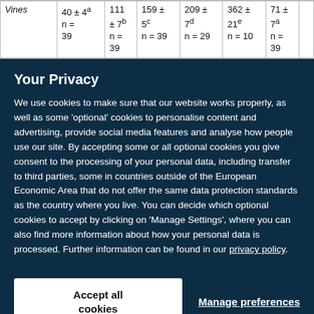|  | Col1 | Col2 | Col3 | Col4 | Col5 | Col6 |
| --- | --- | --- | --- | --- | --- | --- |
| Vines | 40 ± 4a
n = 39 | 111 ± 7b
n = 39 | 159 ± 5c
n = 39 | 209 ± 7d
n = 29 | 362 ± 21e
n = 10 | 71 ± 7a
n = 39 |
Your Privacy
We use cookies to make sure that our website works properly, as well as some 'optional' cookies to personalise content and advertising, provide social media features and analyse how people use our site. By accepting some or all optional cookies you give consent to the processing of your personal data, including transfer to third parties, some in countries outside of the European Economic Area that do not offer the same data protection standards as the country where you live. You can decide which optional cookies to accept by clicking on 'Manage Settings', where you can also find more information about how your personal data is processed. Further information can be found in our privacy policy.
Accept all cookies
Manage preferences